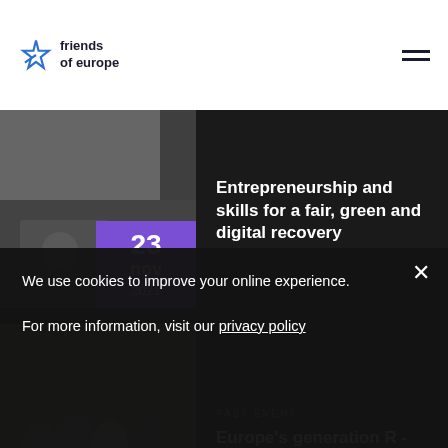[Figure (logo): Friends of Europe logo with star icon and text 'friends of europe']
[Figure (photo): Event card 1: hands working on laptop with date badge 23 nov 2021 in purple]
Entrepreneurship and skills for a fair, green and digital recovery
[Figure (photo): Event card 2: group of people smiling with date badge 09 > 11 sep 2021 in purple]
PAST EVENT
Europe’s generation R - regeneration, recovery, resilience
We use cookies to improve your online experience.
For more information, visit our privacy policy
[Figure (photo): Partial third event card showing partial image and text about Relaunching economies, European Young Leaders (EYL40)... with apr 2021 date badge]